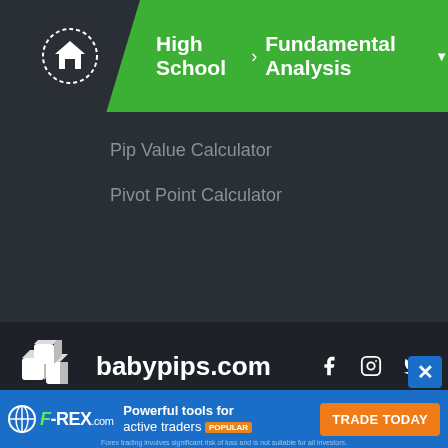High School > Fundamental Analysis
Pip Value Calculator
Pivot Point Calculator
[Figure (logo): BabyPips.com logo with three cubes and site name, plus Facebook, Instagram, Twitter social icons]
BabyPips.com helps new traders learn about the forex and crypto markets without falling asleep.
We introduce people to the world of trading currencies, both fiat and crypto, through our non-drowsy educational content and tools. We're also a community of traders that
[Figure (infographic): FOREX.com advertisement banner: 'Powerful tools for active traders POPULAR' with 'TRADE TODAY' CTA button. Disclaimer: Forex trading involves significant risk of loss and is not suitable for all investors.]